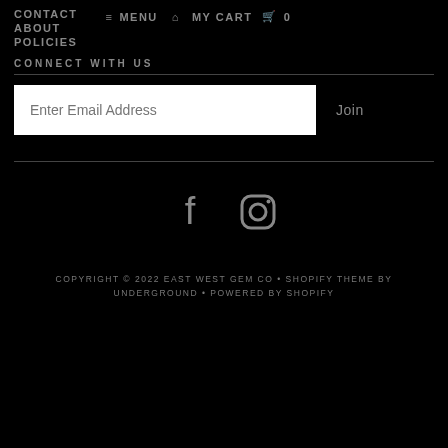CONTACT ABOUT POLICIES  ≡ MENU  ⌂ MY CART  🛒 0
CONNECT WITH US
Enter Email Address  Join
[Figure (other): Facebook and Instagram social media icons]
COPYRIGHT © 2022 EAST WEST GEM CO • SHOPIFY THEME BY UNDERGROUND • POWERED BY SHOPIFY